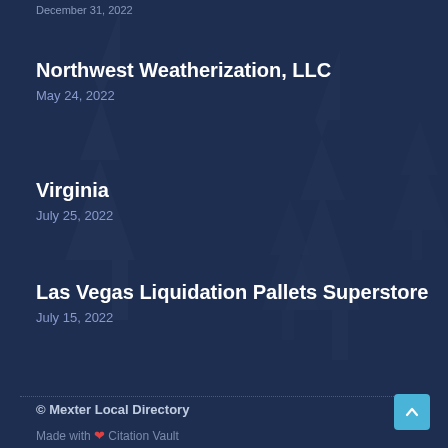December 31, 2022
Northwest Weatherization, LLC
May 24, 2022
Virginia
July 25, 2022
Las Vegas Liquidation Pallets Superstore
July 15, 2022
© Mexter Local Directory
Made with ❤ Citation Vault